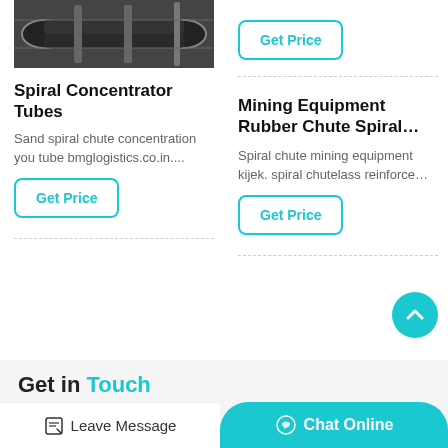[Figure (photo): Industrial conveyor belt or spiral chute equipment photo, dark tones]
Spiral Concentrator Tubes
Sand spiral chute concentration you tube bmglogistics.co.in....
Get Price
Mining Equipment Rubber Chute Spiral...
Spiral chute mining equipment kijek. spiral chutelass reinforce…
Get Price
Get Price
Get in Touch
Leave Message
Chat Online